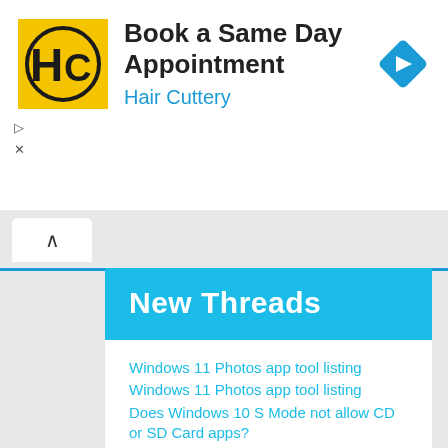[Figure (screenshot): Hair Cuttery advertisement banner with yellow logo showing HC, title 'Book a Same Day Appointment', subtitle 'Hair Cuttery' in blue, and blue navigation diamond icon on the right]
▷
×
New Threads
Windows 11 Photos app tool listing
Windows 11 Photos app tool listing
Does Windows 10 S Mode not allow CD or SD Card apps?
Does Windows 10 S Mode not allow CD or SD Card apps?
Login to Windows Security fails
Login to Windows Security fails
bitlocker
Bitlocker recovery key
bitlocker